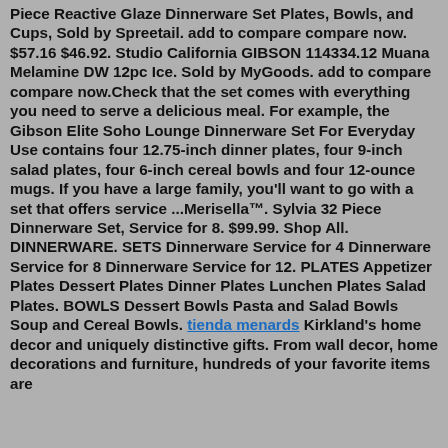Piece Reactive Glaze Dinnerware Set Plates, Bowls, and Cups, Sold by Spreetail. add to compare compare now. $57.16 $46.92. Studio California GIBSON 114334.12 Muana Melamine DW 12pc Ice. Sold by MyGoods. add to compare compare now.Check that the set comes with everything you need to serve a delicious meal. For example, the Gibson Elite Soho Lounge Dinnerware Set For Everyday Use contains four 12.75-inch dinner plates, four 9-inch salad plates, four 6-inch cereal bowls and four 12-ounce mugs. If you have a large family, you'll want to go with a set that offers service ...Merisella™. Sylvia 32 Piece Dinnerware Set, Service for 8. $99.99. Shop All. DINNERWARE. SETS Dinnerware Service for 4 Dinnerware Service for 8 Dinnerware Service for 12. PLATES Appetizer Plates Dessert Plates Dinner Plates Lunchen Plates Salad Plates. BOWLS Dessert Bowls Pasta and Salad Bowls Soup and Cereal Bowls. tienda menards Kirkland's home decor and uniquely distinctive gifts. From wall decor, home decorations and furniture, hundreds of your favorite items are